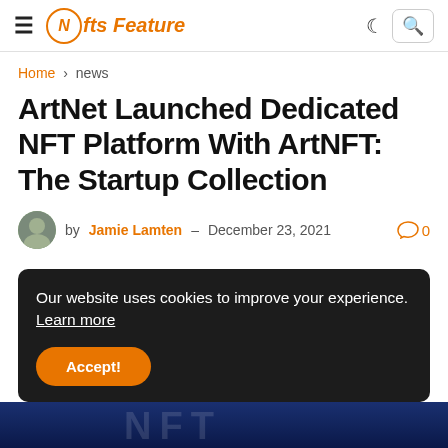≡  Nfts Feature
Home › news
ArtNet Launched Dedicated NFT Platform With ArtNFT: The Startup Collection
by Jamie Lamten - December 23, 2021   💬 0
Our website uses cookies to improve your experience. Learn more
Accept!